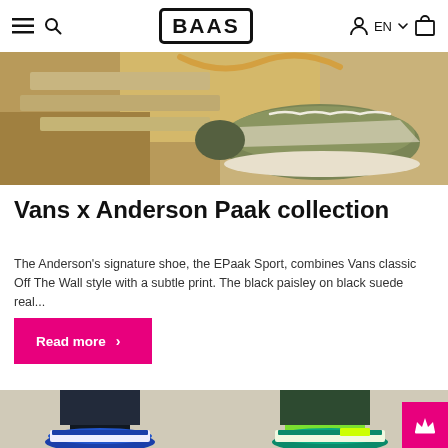BAAS — EN — navigation icons
[Figure (photo): Close-up photo of an olive/khaki Vans sneaker on a wooden surface with golden rope, warm tones]
Vans x Anderson Paak collection
The Anderson's signature shoe, the EPaak Sport, combines Vans classic Off The Wall style with a subtle print. The black paisley on black suede real...
Read more >
[Figure (photo): Two people wearing colorful Saucony sneakers — one blue and white pair, one teal and neon yellow pair — standing on a surface, wearing dark pants and colorful socks]